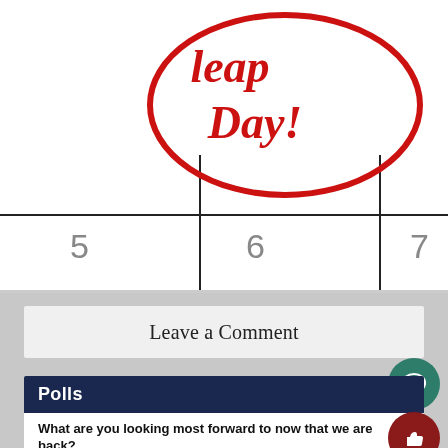[Figure (illustration): Calendar image with handwritten red cursive text 'Leap Day!' circled in red, with calendar grid lines and numbers 5, 6, 7 visible at the bottom]
Leave a Comment
Polls
What are you looking most forward to now that we are back?
Sr and Jr Prom (35%, 8 Votes)
Soccer playoffs (30%, 7 Votes)